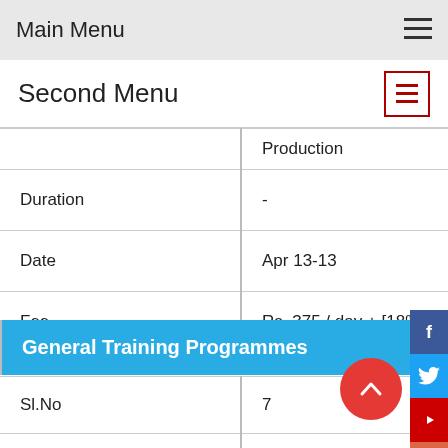Main Menu
Second Menu
| Field | Value |
| --- | --- |
|  | Production |
| Duration | - |
| Date | Apr 13-13 |
| Fee | Rs. 375 / day + [18% GST] |
General Training Programmes
| Field | Value |
| --- | --- |
| Sl.No | 7 |
| Name | GT 02- Online - Spray and maintenance of sprayers |